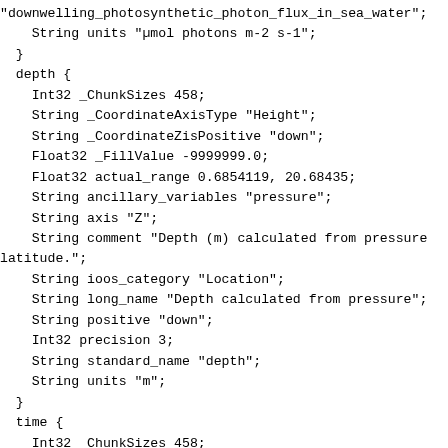"downwelling_photosynthetic_photon_flux_in_sea_water";
    String units "µmol photons m-2 s-1";
  }
  depth {
    Int32 _ChunkSizes 458;
    String _CoordinateAxisType "Height";
    String _CoordinateZisPositive "down";
    Float32 _FillValue -9999999.0;
    Float32 actual_range 0.6854119, 20.68435;
    String ancillary_variables "pressure";
    String axis "Z";
    String comment "Depth (m) calculated from pressure
latitude.";
    String ioos_category "Location";
    String long_name "Depth calculated from pressure";
    String positive "down";
    Int32 precision 3;
    String standard_name "depth";
    String units "m";
  }
  time {
    Int32 _ChunkSizes 458;
    String _CoordinateAxisType "Time";
    Float64 actual_range 1.43509696e+9, 1.43612659e+9;
    String axis "T";
    String calendar "gregorian";